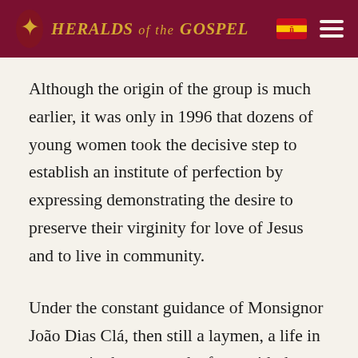Heralds of the Gospel
Although the origin of the group is much earlier, it was only in 1996 that dozens of young women took the decisive step to establish an institute of perfection by expressing demonstrating the desire to preserve their virginity for love of Jesus and to live in community.
Under the constant guidance of Monsignor João Dias Clá, then still a laymen, a life in community began to take form with the